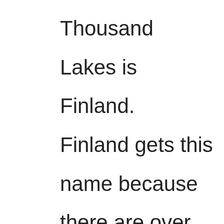Thousand Lakes is Finland.  Finland gets this name because there are over 187,000 lakes